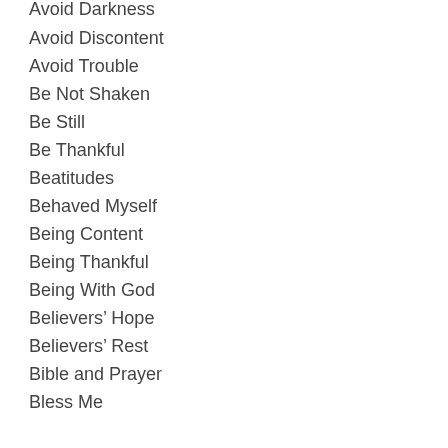Avoid Darkness
Avoid Discontent
Avoid Trouble
Be Not Shaken
Be Still
Be Thankful
Beatitudes
Behaved Myself
Being Content
Being Thankful
Being With God
Believers’ Hope
Believers’ Rest
Bible and Prayer
Bless Me